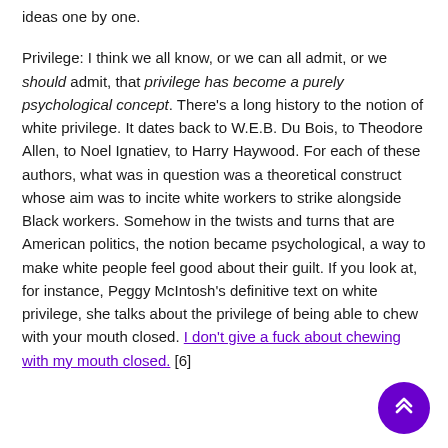ideas one by one.
Privilege: I think we all know, or we can all admit, or we should admit, that privilege has become a purely psychological concept. There's a long history to the notion of white privilege. It dates back to W.E.B. Du Bois, to Theodore Allen, to Noel Ignatiev, to Harry Haywood. For each of these authors, what was in question was a theoretical construct whose aim was to incite white workers to strike alongside Black workers. Somehow in the twists and turns that are American politics, the notion became psychological, a way to make white people feel good about their guilt. If you look at, for instance, Peggy McIntosh's definitive text on white privilege, she talks about the privilege of being able to chew with your mouth closed. I don't give a fuck about chewing with my mouth closed. [6]